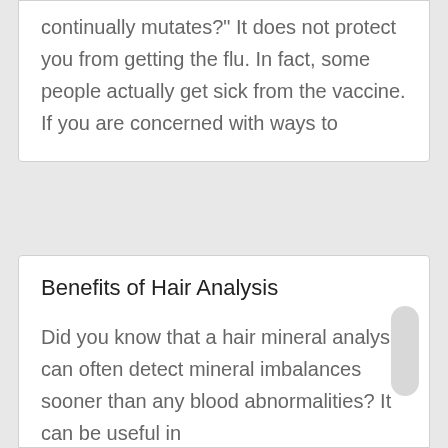continually mutates?" It does not protect you from getting the flu. In fact, some people actually get sick from the vaccine. If you are concerned with ways to
Benefits of Hair Analysis
Did you know that a hair mineral analysis can often detect mineral imbalances sooner than any blood abnormalities? It can be useful in